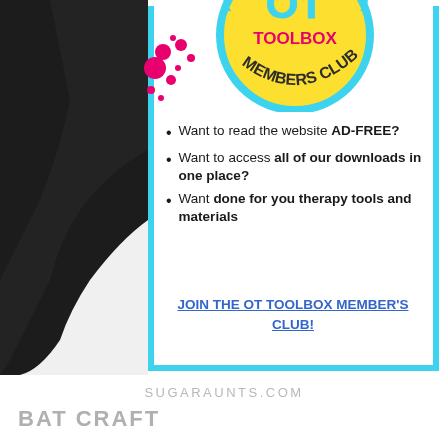[Figure (logo): OT Toolbox Members Club circular logo with yellow background and pink/dark text, with pink paint splashes]
Want to read the website AD-FREE?
Want to access all of our downloads in one place?
Want done for you therapy tools and materials
JOIN THE OT TOOLBOX MEMBER'S CLUB!
SUGARAUNTS.COM
BAT CRAFT